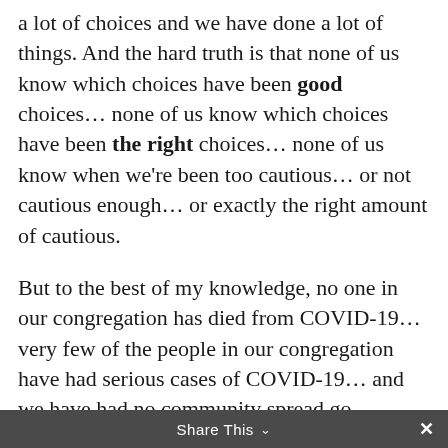a lot of choices and we have done a lot of things. And the hard truth is that none of us know which choices have been good choices… none of us know which choices have been the right choices… none of us know when we're been too cautious… or not cautious enough… or exactly the right amount of cautious.
But to the best of my knowledge, no one in our congregation has died from COVID-19… very few of the people in our congregation have had serious cases of COVID-19… and we have had no community spread go COVID-19 from church events.
The fruit of our choices has been pretty good. And that shows that our choices were rooted in good
Share This ∨  ×